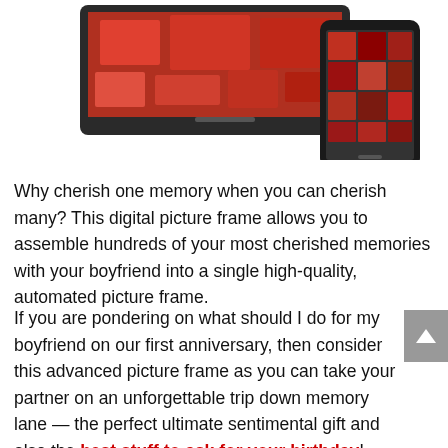[Figure (photo): Product photo showing a digital picture frame displaying holiday/party images and a smartphone alongside it, partially cropped at top]
Why cherish one memory when you can cherish many? This digital picture frame allows you to assemble hundreds of your most cherished memories with your boyfriend into a single high-quality, automated picture frame.
If you are pondering on what should I do for my boyfriend on our first anniversary, then consider this advanced picture frame as you can take your partner on an unforgettable trip down memory lane — the perfect ultimate sentimental gift and also the best stuff to ask for your birthday!